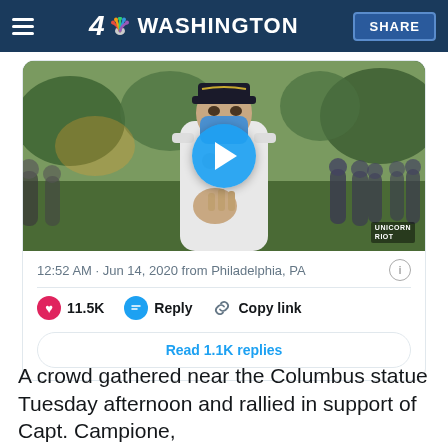4 NBC WASHINGTON  SHARE
[Figure (screenshot): Video thumbnail showing a police officer in white uniform and cap wearing a blue face mask, gesturing toward camera, surrounded by crowd in a park setting. Blue play button overlay in center. 'UNICORN RIOT' watermark at bottom right.]
12:52 AM · Jun 14, 2020 from Philadelphia, PA
11.5K   Reply   Copy link
Read 1.1K replies
A crowd gathered near the Columbus statue Tuesday afternoon and rallied in support of Capt. Campione,